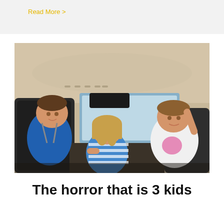Read More >
[Figure (photo): Three young children in the backseat of a car. A boy in a blue shirt is seated in a car seat on the left, a girl in a striped shirt is in the middle reaching forward, and a girl in a white shirt with a pink design has her arm raised on the right. The car interior shows the ceiling and rear windows.]
The horror that is 3 kids